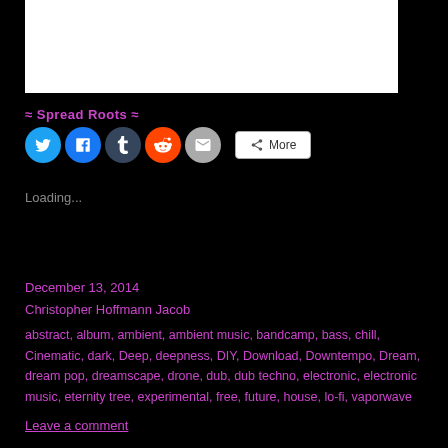[Figure (other): White rectangle image/media embed area at top of page]
≈ Spread Roots ≈
[Figure (infographic): Social share buttons: Twitter, Facebook, Tumblr, Reddit, Email, and More button]
Loading...
December 13, 2014
Christopher Hoffmann Jacob
abstract, album, ambient, ambient music, bandcamp, bass, chill, Cinematic, dark, Deep, deepness, DIY, Download, Downtempo, Dream, dream pop, dreamscape, drone, dub, dub techno, electronic, electronic music, eternity tree, experimental, free, future, house, lo-fi, vaporwave
Leave a comment